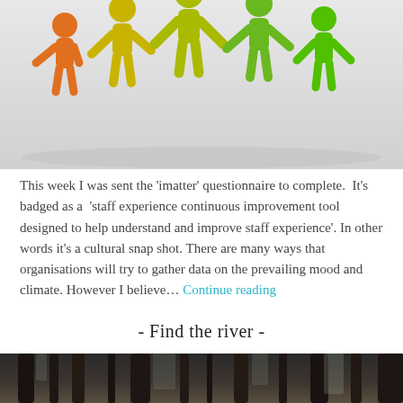[Figure (photo): Colorful toy figurines of people holding hands in a chain, colored orange, yellow, and various shades of green, on a white/light gray background.]
This week I was sent the 'imatter' questionnaire to complete.  It's badged as a  'staff experience continuous improvement tool designed to help understand and improve staff experience'. In other words it's a cultural snap shot. There are many ways that organisations will try to gather data on the prevailing mood and climate. However I believe… Continue reading
- Find the river -
[Figure (photo): A forest scene with bare winter trees, dark trunks visible, with light filtering through the branches.]